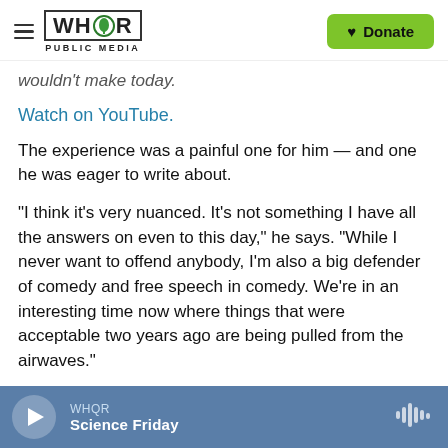WHQR PUBLIC MEDIA | Donate
wouldn't make today.
Watch on YouTube.
The experience was a painful one for him — and one he was eager to write about.
“I think it’s very nuanced. It’s not something I have all the answers on even to this day,” he says. “While I never want to offend anybody, I’m also a big defender of comedy and free speech in comedy. We’re in an interesting time now where things that were acceptable two years ago are being pulled from the airwaves.”
WHQR
Science Friday